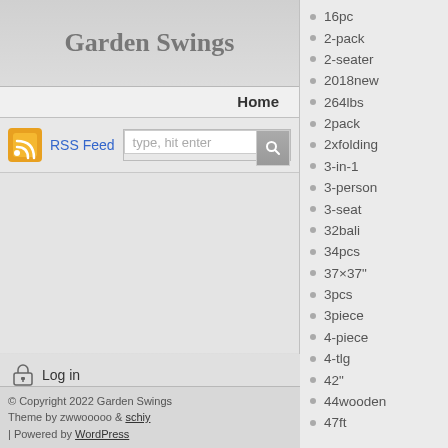Garden Swings
Home
RSS Feed  type, hit enter
Log in
© Copyright 2022 Garden Swings
Theme by zwwooooo & schiy
| Powered by WordPress
16pc
2-pack
2-seater
2018new
264lbs
2pack
2xfolding
3-in-1
3-person
3-seat
32bali
34pcs
37×37"
3pcs
3piece
4-piece
4-tlg
42"
44wooden
47ft